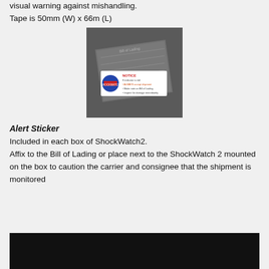visual warning against mishandling.
Tape is 50mm (W) x 66m (L)
[Figure (photo): Image of a Bill of Lading document with a ShockWatch NOTICE alert sticker affixed, showing instructions: 'If indicator is red: ALWAYS accept shipment, Make note on Bill of Lading, Inspect for damage immediately']
Alert Sticker
Included in each box of ShockWatch2.
Affix to the Bill of Lading or place next to the ShockWatch 2 mounted on the box to caution the carrier and consignee that the shipment is monitored
[Figure (photo): Dark/black image at the bottom of the page, partial view]